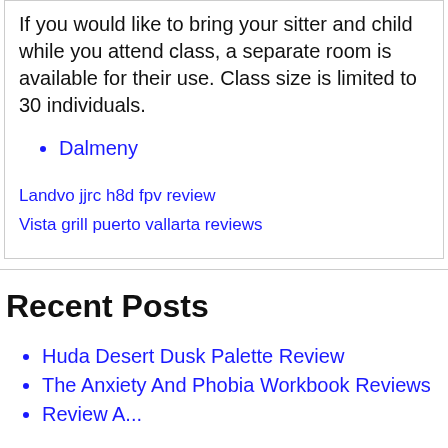If you would like to bring your sitter and child while you attend class, a separate room is available for their use. Class size is limited to 30 individuals.
Dalmeny
Landvo jjrc h8d fpv review
Vista grill puerto vallarta reviews
Recent Posts
Huda Desert Dusk Palette Review
The Anxiety And Phobia Workbook Reviews
Review A...